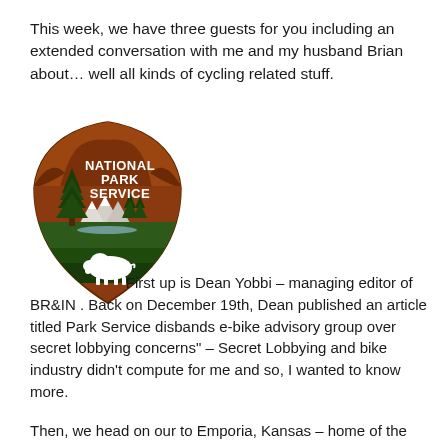This week, we have three guests for you including an extended conversation with me and my husband Brian about… well all kinds of cycling related stuff.
[Figure (logo): National Park Service arrowhead logo — brown arrowhead shape containing a sequoia tree, mountains, a river valley, and a white bison silhouette, with text NATIONAL PARK SERVICE in white]
First up is Dean Yobbi – managing editor of BR&IN . Back on December 19th, Dean published an article titled Park Service disbands e-bike advisory group over secret lobbying concerns" – Secret Lobbying and bike industry didn't compute for me and so, I wanted to know more.
Then, we head on our to Emporia, Kansas – home of the